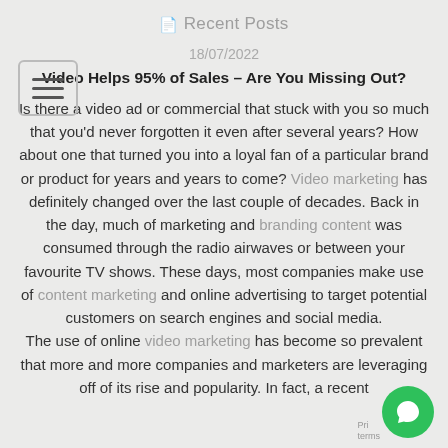Recent Posts
18/07/2022
Video Helps 95% of Sales – Are You Missing Out?
Is there a video ad or commercial that stuck with you so much that you'd never forgotten it even after several years? How about one that turned you into a loyal fan of a particular brand or product for years and years to come? Video marketing has definitely changed over the last couple of decades. Back in the day, much of marketing and branding content was consumed through the radio airwaves or between your favourite TV shows. These days, most companies make use of content marketing and online advertising to target potential customers on search engines and social media.
The use of online video marketing has become so prevalent that more and more companies and marketers are leveraging off of its rise and popularity. In fact, a recent